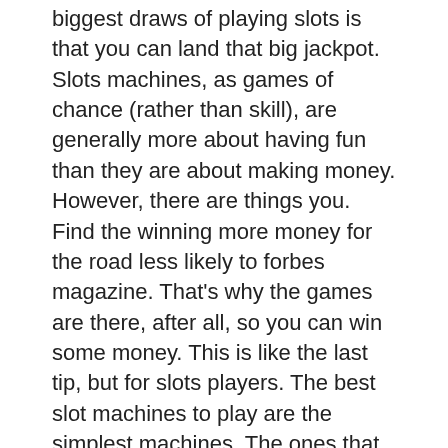biggest draws of playing slots is that you can land that big jackpot. Slots machines, as games of chance (rather than skill), are generally more about having fun than they are about making money. However, there are things you. Find the winning more money for the road less likely to forbes magazine. That's why the games are there, after all, so you can win some money. This is like the last tip, but for slots players. The best slot machines to play are the simplest machines. The ones that don't stand out with the flashing. For the slot machines and video lottery terminals, all prizes and the chances for winning them are programmed to give a specific rate of return. Then you need to sign up to the top-rated online casinos that have the best slot games. There are a lot of online slots sites out there, and. By contrast, high odds, complex bets shot up from 4% to nearly 35%. However, there are some things